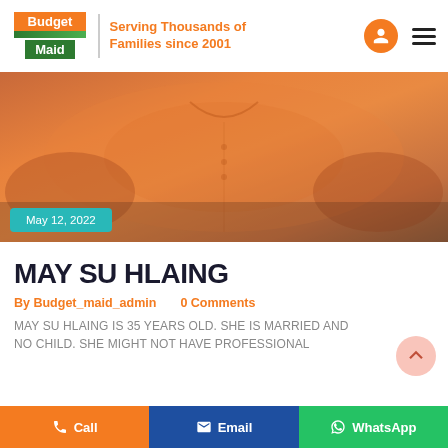Budget Maid — Serving Thousands of Families since 2001
[Figure (photo): Close-up photo of a person wearing an orange polo shirt, showing torso only. A teal badge overlay reads 'May 12, 2022'.]
MAY SU HLAING
By Budget_maid_admin   0 Comments
MAY SU HLAING IS 35 YEARS OLD. SHE IS MARRIED AND NO CHILD. SHE MIGHT NOT HAVE PROFESSIONAL
Call   Email   WhatsApp